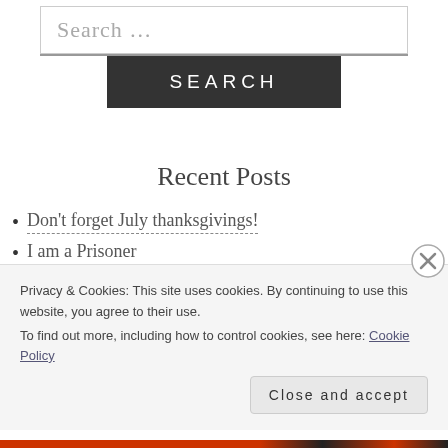[Figure (screenshot): Search input box with placeholder text 'Search …' and a dark SEARCH button below it]
Recent Posts
Don't forget July thanksgivings!
I am a Prisoner
Building together
Book Review: THE CAPTIVE'S CROWN by Olusola Sophia Anyanwu
Privacy & Cookies: This site uses cookies. By continuing to use this website, you agree to their use.
To find out more, including how to control cookies, see here: Cookie Policy
Close and accept